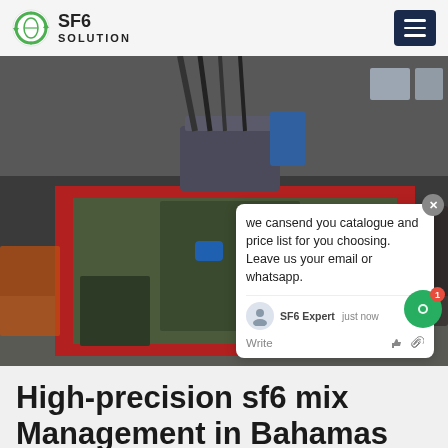SF6 SOLUTION
[Figure (photo): Industrial SF6 gas management machine/equipment in a workshop setting, large green cabinet with red frame, cables and motors visible. Chat popup overlay showing message: 'we can send you catalogue and price list for you choosing. Leave us your email or whatsapp.' SF6China watermark in orange italic text.]
High-precision sf6 mix Management in Bahamas